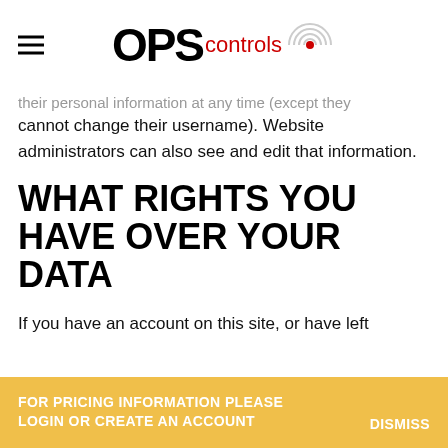OPS controls
their personal information at any time (except they cannot change their username). Website administrators can also see and edit that information.
WHAT RIGHTS YOU HAVE OVER YOUR DATA
If you have an account on this site, or have left
FOR PRICING INFORMATION PLEASE LOGIN OR CREATE AN ACCOUNT   DISMISS